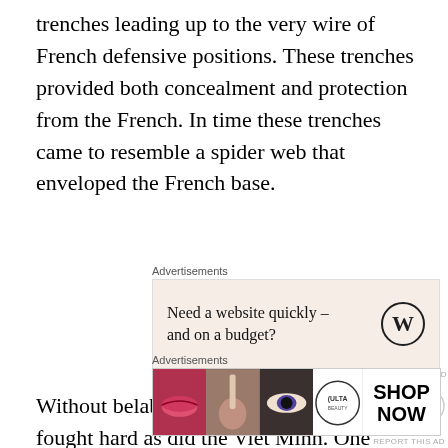trenches leading up to the very wire of French defensive positions. These trenches provided both concealment and protection from the French. In time these trenches came to resemble a spider web that enveloped the French base.
[Figure (other): Advertisement block: 'Need a website quickly – and on a budget?' with WordPress logo on beige background]
Without belaboring the point the French fought hard as did the Viet Minh. One after one French positions were overwhelmed by accurate artillery and well planned attacks.  The French hoped for U.S. air intervention, even the possibility of the United States using nuclear weapons
[Figure (other): Advertisement block: ULTA beauty advertisement with 'SHOP NOW' text and beauty product images]